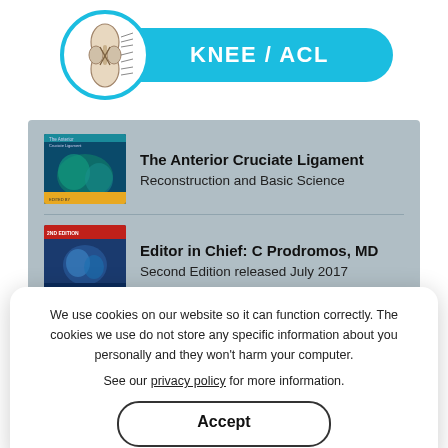[Figure (illustration): Circular icon with knee joint anatomy diagram, surrounded by cyan/blue border, part of the KNEE/ACL header pill]
KNEE / ACL
[Figure (illustration): Two book covers for 'The Anterior Cruciate Ligament' stacked vertically, first edition (teal cover) and second edition (blue/red cover)]
The Anterior Cruciate Ligament
Reconstruction and Basic Science
Editor in Chief: C Prodromos, MD
Second Edition released July 2017
[Figure (screenshot): Background section showing partial view of website content with blue bar, 'PRP & Stem Cell' text, 'Knee' and 'Shoulder' navigation labels]
We use cookies on our website so it can function correctly. The cookies we use do not store any specific information about you personally and they won't harm your computer.
See our privacy policy for more information.
Accept